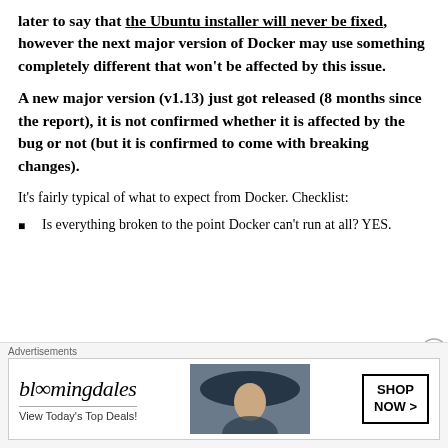later to say that the Ubuntu installer will never be fixed, however the next major version of Docker may use something completely different that won't be affected by this issue.
A new major version (v1.13) just got released (8 months since the report), it is not confirmed whether it is affected by the bug or not (but it is confirmed to come with breaking changes).
It's fairly typical of what to expect from Docker. Checklist:
Is everything broken to the point Docker can't run at all? YES.
(partial, cut off)